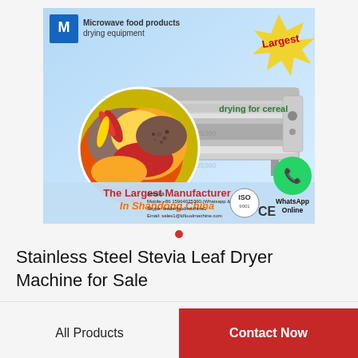[Figure (photo): Advertisement banner for microwave food drying equipment. Shows industrial conveyor dryer machine, spices/cereals in circular inset, company logo, ISO and CE certification marks, WhatsApp Online button. Text: 'The Largest Manufacturer In Shandong China', contact info: Jessica, Mobile: +86 15964025360, Skype: leaderfoodmachine1, Email: sales1@ldfoodmachine.com, drying for cereal, Largest]
Stainless Steel Stevia Leaf Dryer Machine for Sale
All Products
Contact Now